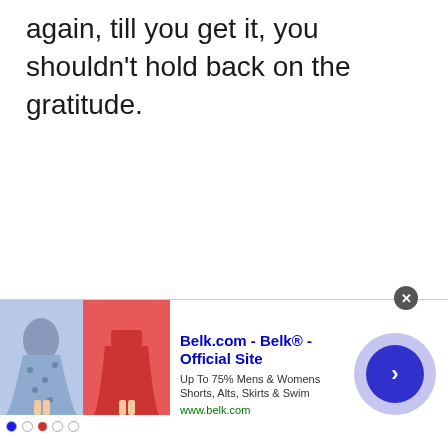again, till you get it, you shouldn't hold back on the gratitude.
[Figure (screenshot): Advertisement banner for Belk.com showing clothing images (blue floral skirt and red shorts), ad title 'Belk.com - Belk® - Official Site', subtitle 'Up To 75% Mens & Womens Shorts, Alts, Skirts & Swim', URL 'www.belk.com', and a blue circular arrow button. A close (X) button appears at top right.]